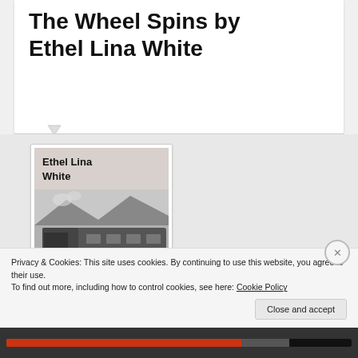The Wheel Spins by Ethel Lina White
[Figure (illustration): Book cover of 'The Wheel Spins' by Ethel Lina White, showing a black and white photograph of a train with the title in red and dark text at the bottom, author name at the top left.]
Privacy & Cookies: This site uses cookies. By continuing to use this website, you agree to their use.
To find out more, including how to control cookies, see here: Cookie Policy